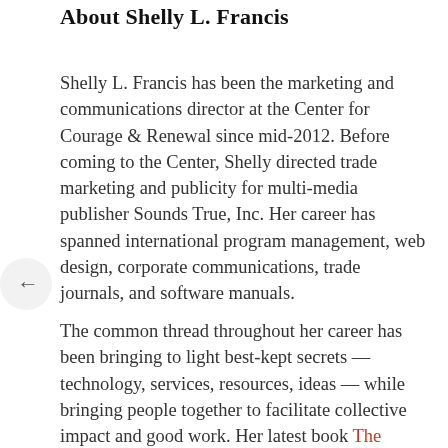About Shelly L. Francis
Shelly L. Francis has been the marketing and communications director at the Center for Courage & Renewal since mid-2012. Before coming to the Center, Shelly directed trade marketing and publicity for multi-media publisher Sounds True, Inc. Her career has spanned international program management, web design, corporate communications, trade journals, and software manuals.
The common thread throughout her career has been bringing to light best-kept secrets — technology, services, resources, ideas — while bringing people together to facilitate collective impact and good work. Her latest book The Courage